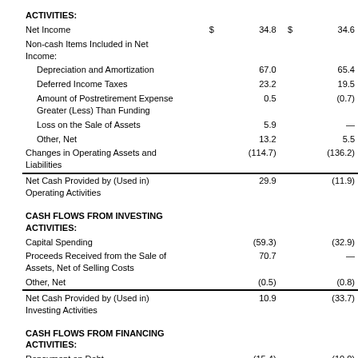|  |  |  |  |  |
| --- | --- | --- | --- | --- |
| ACTIVITIES: |  |  |  |  |
| Net Income | $ | 34.8 | $ | 34.6 |
| Non-cash Items Included in Net Income: |  |  |  |  |
|   Depreciation and Amortization |  | 67.0 |  | 65.4 |
|   Deferred Income Taxes |  | 23.2 |  | 19.5 |
|   Amount of Postretirement Expense Greater (Less) Than Funding |  | 0.5 |  | (0.7) |
|   Loss on the Sale of Assets |  | 5.9 |  | — |
|   Other, Net |  | 13.2 |  | 5.5 |
| Changes in Operating Assets and Liabilities |  | (114.7) |  | (136.2) |
| Net Cash Provided by (Used in) Operating Activities |  | 29.9 |  | (11.9) |
| CASH FLOWS FROM INVESTING ACTIVITIES: |  |  |  |  |
| Capital Spending |  | (59.3) |  | (32.9) |
| Proceeds Received from the Sale of Assets, Net of Selling Costs |  | 70.7 |  | — |
| Other, Net |  | (0.5) |  | (0.8) |
| Net Cash Provided by (Used in) Investing Activities |  | 10.9 |  | (33.7) |
| CASH FLOWS FROM FINANCING ACTIVITIES: |  |  |  |  |
| Repayment on Debt |  | (15.4) |  | (10.0) |